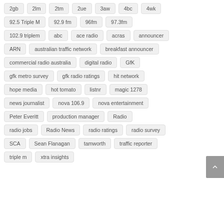2gb
2lm
2tm
2ue
3aw
4bc
4wk
92.5 Triple M
92.9 fm
96fm
97.3fm
102.9 triplem
abc
ace radio
acras
announcer
ARN
australian traffic network
breakfast announcer
commercial radio australia
digital radio
GfK
gfk metro survey
gfk radio ratings
hit network
hope media
hot tomato
listnr
magic 1278
news journalist
nova 106.9
nova entertainment
Peter Everitt
production manager
Radio
radio jobs
Radio News
radio ratings
radio survey
SCA
Sean Flanagan
tamworth
traffic reporter
triple m
xtra insights